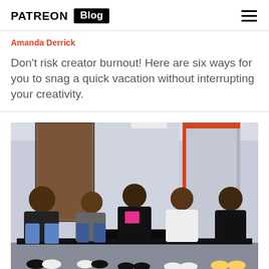PATREON Blog
Amanda Derrick
Don't risk creator burnout! Here are six ways for you to snag a quick vacation without interrupting your creativity.
[Figure (photo): Five men sitting on a stepped bench/platform in what appears to be a studio or backstage corridor, posed for a group photo. They are dressed casually/stylishly.]